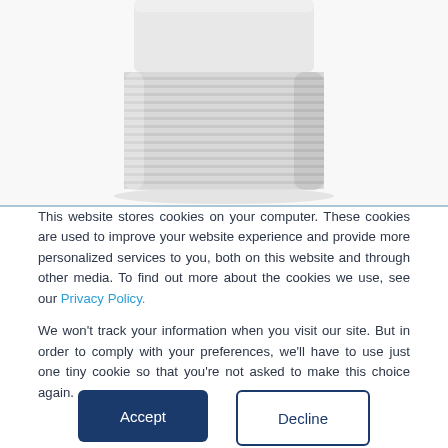[Figure (photo): White cylindrical smart speaker device shown from the middle-lower portion, with horizontal ribbed/grooved texture on the lower body, on a white background.]
This website stores cookies on your computer. These cookies are used to improve your website experience and provide more personalized services to you, both on this website and through other media. To find out more about the cookies we use, see our Privacy Policy.
We won't track your information when you visit our site. But in order to comply with your preferences, we'll have to use just one tiny cookie so that you're not asked to make this choice again.